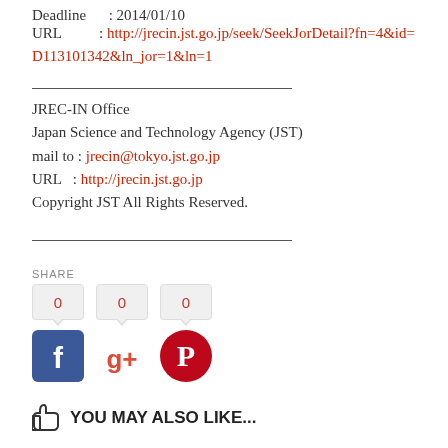Deadline : 2014/01/10
URL : http://jrecin.jst.go.jp/seek/SeekJorDetail?fn=4&id=D113101342&ln_jor=1&ln=1
JREC-IN Office
Japan Science and Technology Agency (JST)
mail to : jrecin@tokyo.jst.go.jp
URL : http://jrecin.jst.go.jp
Copyright JST All Rights Reserved.
SHARE
[Figure (infographic): Social share buttons: Facebook, Google+, Pinterest each showing count of 0]
YOU MAY ALSO LIKE...